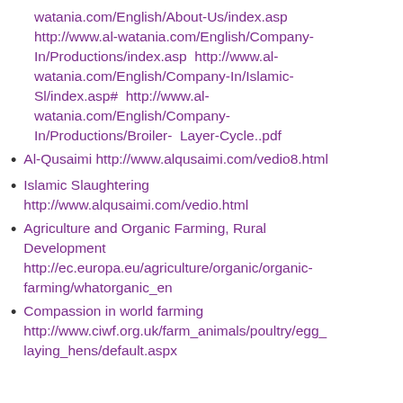watania.com/English/About-Us/index.asp http://www.al-watania.com/English/Company-In/Productions/index.asp http://www.al-watania.com/English/Company-In/Islamic-Sl/index.asp# http://www.al-watania.com/English/Company-In/Productions/Broiler- Layer-Cycle..pdf
Al-Qusaimi http://www.alqusaimi.com/vedio8.html
Islamic Slaughtering http://www.alqusaimi.com/vedio.html
Agriculture and Organic Farming, Rural Development http://ec.europa.eu/agriculture/organic/organic-farming/whatorganic_en
Compassion in world farming http://www.ciwf.org.uk/farm_animals/poultry/egg_laying_hens/default.aspx